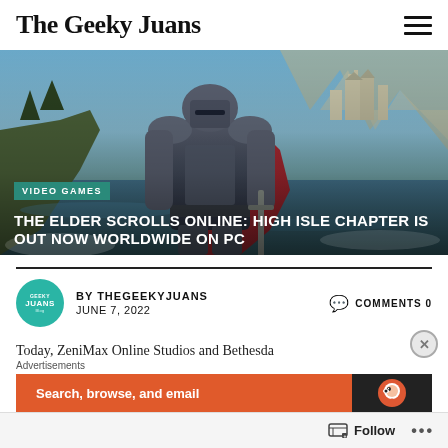The Geeky Juans
[Figure (photo): Hero image showing an armored knight/warrior in front of a fantasy castle on a cliff by the sea, overlaid with text labels VIDEO GAMES and article headline]
THE ELDER SCROLLS ONLINE: HIGH ISLE CHAPTER IS OUT NOW WORLDWIDE ON PC
BY THEGEEKYJUANS   COMMENTS 0
JUNE 7, 2022
Today, ZeniMax Online Studios and Bethesda
[Figure (other): Advertisement banner: Search, browse, and email]
Follow   ...